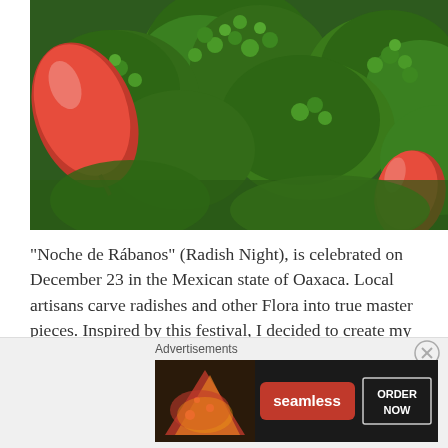[Figure (photo): Close-up photo of fresh broccoli florets and red radishes]
“Noche de Rábanos” (Radish Night), is celebrated on December 23 in the Mexican state of Oaxaca. Local artisans carve radishes and other Flora into true master pieces. Inspired by this festival, I decided to create my own radish art … click on title for more
[Figure (screenshot): Seamless food delivery advertisement banner with pizza image, Seamless logo, and ORDER NOW button]